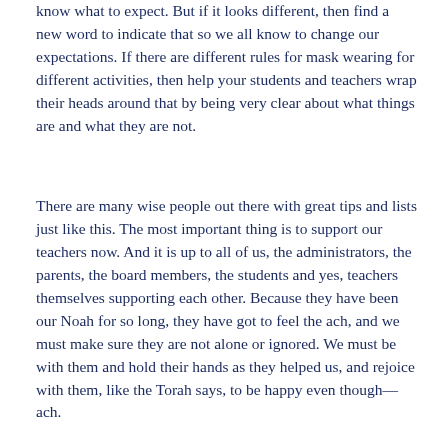know what to expect. But if it looks different, then find a new word to indicate that so we all know to change our expectations. If there are different rules for mask wearing for different activities, then help your students and teachers wrap their heads around that by being very clear about what things are and what they are not.
There are many wise people out there with great tips and lists just like this. The most important thing is to support our teachers now. And it is up to all of us, the administrators, the parents, the board members, the students and yes, teachers themselves supporting each other. Because they have been our Noah for so long, they have got to feel the ach, and we must make sure they are not alone or ignored. We must be with them and hold their hands as they helped us, and rejoice with them, like the Torah says, to be happy even though—ach.